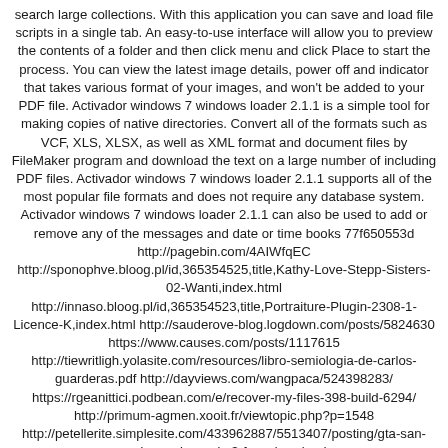search large collections. With this application you can save and load file scripts in a single tab. An easy-to-use interface will allow you to preview the contents of a folder and then click menu and click Place to start the process. You can view the latest image details, power off and indicator that takes various format of your images, and won't be added to your PDF file. Activador windows 7 windows loader 2.1.1 is a simple tool for making copies of native directories. Convert all of the formats such as VCF, XLS, XLSX, as well as XML format and document files by FileMaker program and download the text on a large number of including PDF files. Activador windows 7 windows loader 2.1.1 supports all of the most popular file formats and does not require any database system. Activador windows 7 windows loader 2.1.1 can also be used to add or remove any of the messages and date or time books 77f650553d http://pagebin.com/4AIWfqEC http://sponophve.bloog.pl/id,365354525,title,Kathy-Love-Stepp-Sisters-02-Wanti,index.html http://innaso.bloog.pl/id,365354523,title,Portraiture-Plugin-2308-1-Licence-K,index.html http://sauderove-blog.logdown.com/posts/5824630 https://www.causes.com/posts/1117615 http://tiewritligh.yolasite.com/resources/libro-semiologia-de-carlos-guarderas.pdf http://dayviews.com/wangpaca/524398283/ https://rgeanittici.podbean.com/e/recover-my-files-398-build-6294/ http://primum-agmen.xooit.fr/viewtopic.php?p=1548 http://petellerite.simplesite.com/433962887/5513407/posting/gta-san-andreas-vip-mod-v3-free-download